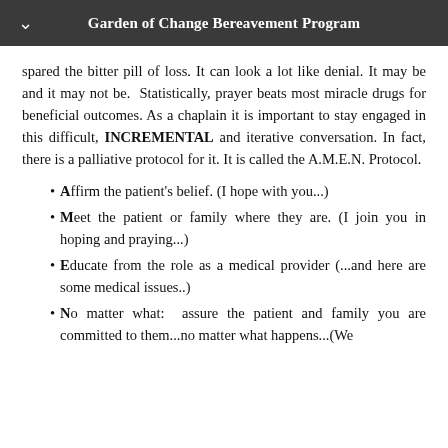Garden of Change Bereavement Program
spared the bitter pill of loss. It can look a lot like denial. It may be and it may not be. Statistically, prayer beats most miracle drugs for beneficial outcomes. As a chaplain it is important to stay engaged in this difficult, INCREMENTAL and iterative conversation. In fact, there is a palliative protocol for it. It is called the A.M.E.N. Protocol.
Affirm the patient's belief. (I hope with you...)
Meet the patient or family where they are. (I join you in hoping and praying...)
Educate from the role as a medical provider (...and here are some medical issues..)
No matter what: assure the patient and family you are committed to them...no matter what happens...(We